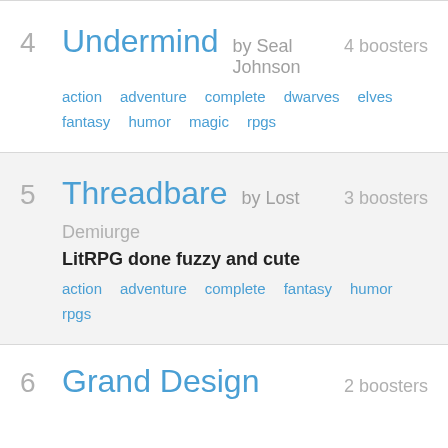4 Undermind by Seal Johnson 4 boosters action adventure complete dwarves elves fantasy humor magic rpgs
5 Threadbare by Lost Demiurge LitRPG done fuzzy and cute 3 boosters action adventure complete fantasy humor rpgs
6 Grand Design 2 boosters